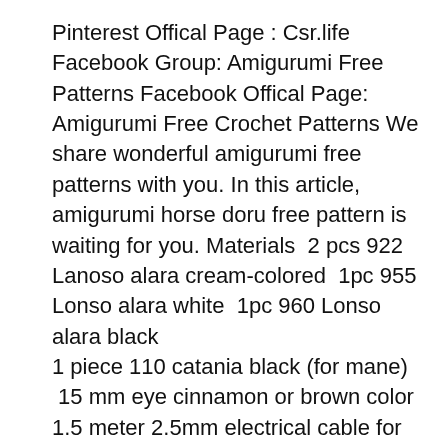Pinterest Offical Page : Csr.life Facebook Group: Amigurumi Free Patterns Facebook Offical Page: Amigurumi Free Crochet Patterns We share wonderful amigurumi free patterns with you. In this article, amigurumi horse doru free pattern is waiting for you. Materials  2 pcs 922 Lanoso alara cream-colored  1pc 955 Lonso alara white  1pc 960 Lonso alara black
1 piece 110 catania black (for mane)  15 mm eye cinnamon or brown color
1.5 meter 2.5mm electrical cable for the body  Hard plastic for the soles of the feet  250 g fiber  A piece of white felt
Materials for making with velvet rope
300gr himalayan cinnamon 80337  130 gr white himalayan velvet